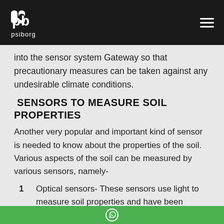psiborg
into the sensor system Gateway so that precautionary measures can be taken against any undesirable climate conditions.
SENSORS TO MEASURE SOIL PROPERTIES
Another very popular and important kind of sensor is needed to know about the properties of the soil. Various aspects of the soil can be measured by various sensors, namely-
1  Optical sensors- These sensors use light to measure soil properties and have been developed to determine the clay, organic matter